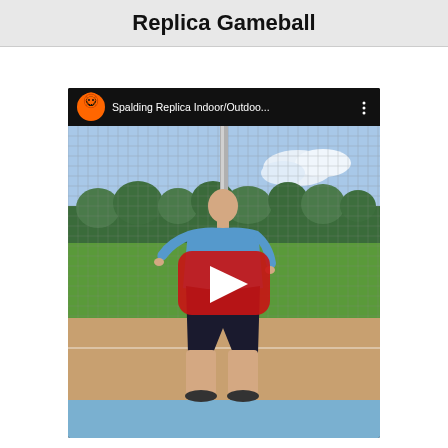Replica Gameball
[Figure (screenshot): YouTube video thumbnail showing a bald man in a blue shirt and black shorts standing on an outdoor basketball court in front of a chain-link fence. The video title reads 'Spalding Replica Indoor/Outdoo...' with a channel icon of an orange skull with a basketball. A red YouTube play button is overlaid in the center.]